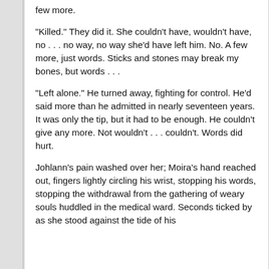few more.
"Killed." They did it. She couldn't have, wouldn't have, no . . . no way, no way she'd have left him. No. A few more, just words. Sticks and stones may break my bones, but words . . .
"Left alone." He turned away, fighting for control. He'd said more than he admitted in nearly seventeen years. It was only the tip, but it had to be enough. He couldn't give any more. Not wouldn't . . . couldn't. Words did hurt.
Johlann's pain washed over her; Moira's hand reached out, fingers lightly circling his wrist, stopping his words, stopping the withdrawal from the gathering of weary souls huddled in the medical ward. Seconds ticked by as she stood against the tide of his